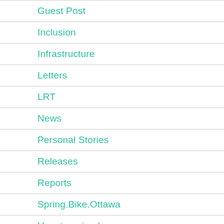Guest Post
Inclusion
Infrastructure
Letters
LRT
News
Personal Stories
Releases
Reports
Spring.Bike.Ottawa
Uncategorized
Winter Cycling